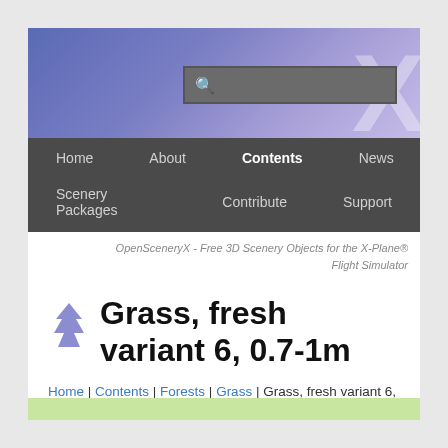[Figure (screenshot): Website header banner with blue-purple gradient background and large white X logo watermark, containing a search box]
Home | About | Contents | News | Scenery Packages | Contribute | Support
OpenSceneryX - Free 3D Scenery Objects for the X-Plane® Flight Simulator
Grass, fresh variant 6, 0.7-1m
Home | Contents | Forests | Grass | Grass, fresh variant 6, 0.7-1m